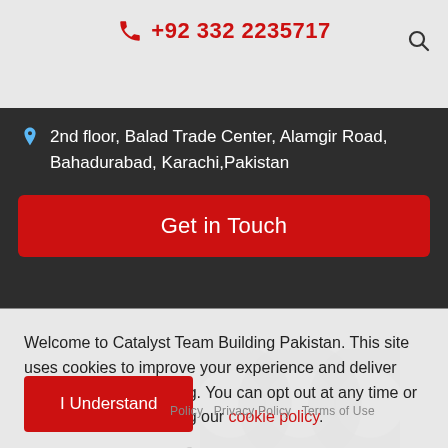+92 332 2235717
2nd floor, Balad Trade Center, Alamgir Road, Bahadurabad, Karachi,Pakistan
Get in Touch
Welcome to Catalyst Team Building Pakistan. This site uses cookies to improve your experience and deliver personalised advertising. You can opt out at any time or find out more by reading our cookie policy.
Copyright © 2022 Catalyst Limited
I Understand
Privacy Policy  Terms of Use